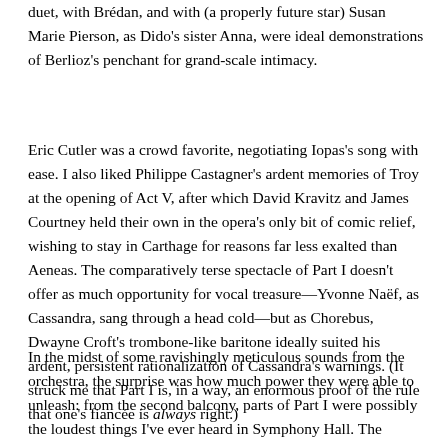duet, with Brédan, and with (a properly future star) Susan Marie Pierson, as Dido's sister Anna, were ideal demonstrations of Berlioz's penchant for grand-scale intimacy.
Eric Cutler was a crowd favorite, negotiating Iopas's song with ease. I also liked Philippe Castagner's ardent memories of Troy at the opening of Act V, after which David Kravitz and James Courtney held their own in the opera's only bit of comic relief, wishing to stay in Carthage for reasons far less exalted than Aeneas. The comparatively terse spectacle of Part I doesn't offer as much opportunity for vocal treasure—Yvonne Naëf, as Cassandra, sang through a head cold—but as Chorebus, Dwayne Croft's trombone-like baritone ideally suited his ardent, persistent rationalization of Cassandra's warnings. (It struck me that Part I is, in a way, an enormous proof of the rule that one's fiancée is always right.)
In the midst of some ravishingly meticulous sounds from the orchestra, the surprise was how much power they were able to unleash: from the second balcony, parts of Part I were possibly the loudest things I've ever heard in Symphony Hall. The playing not only